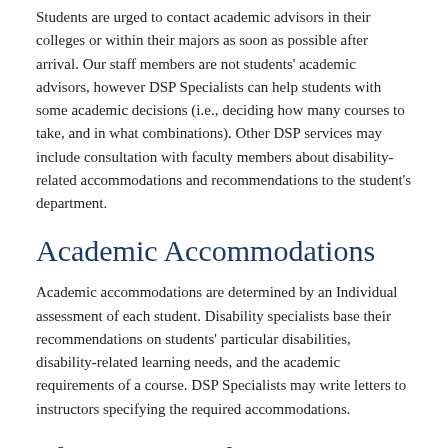Students are urged to contact academic advisors in their colleges or within their majors as soon as possible after arrival. Our staff members are not students' academic advisors, however DSP Specialists can help students with some academic decisions (i.e., deciding how many courses to take, and in what combinations). Other DSP services may include consultation with faculty members about disability-related accommodations and recommendations to the student's department.
Academic Accommodations
Academic accommodations are determined by an Individual assessment of each student. Disability specialists base their recommendations on students' particular disabilities, disability-related learning needs, and the academic requirements of a course. DSP Specialists may write letters to instructors specifying the required accommodations.
Alternative Media